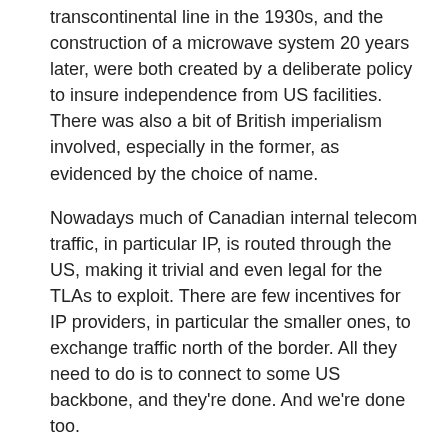transcontinental line in the 1930s, and the construction of a microwave system 20 years later, were both created by a deliberate policy to insure independence from US facilities. There was also a bit of British imperialism involved, especially in the former, as evidenced by the choice of name.
Nowadays much of Canadian internal telecom traffic, in particular IP, is routed through the US, making it trivial and even legal for the TLAs to exploit. There are few incentives for IP providers, in particular the smaller ones, to exchange traffic north of the border. All they need to do is to connect to some US backbone, and they're done. And we're done too.
And that's before you throw in the reckless bill C-51, which is now the law of the land…
uh, Mike • August 16, 2015 9:31 AM
I would like a way to mark packets not to travel over a proprietary network.
Couple that with some carriers who openly denounce surveillance.